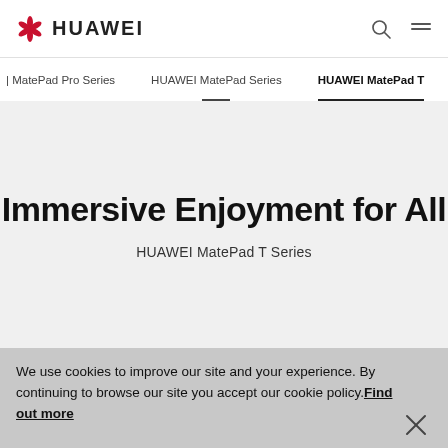HUAWEI
| MatePad Pro Series    HUAWEI MatePad Series    HUAWEI MatePad T
Immersive Enjoyment for All
HUAWEI MatePad T Series
We use cookies to improve our site and your experience. By continuing to browse our site you accept our cookie policy.Find out more